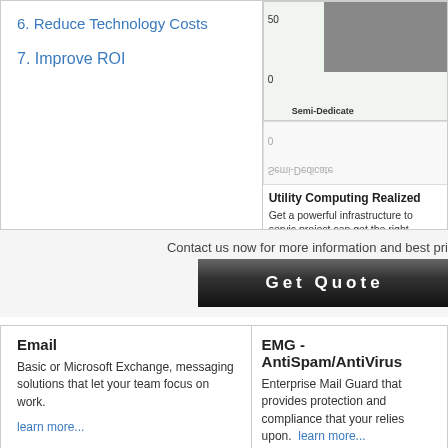6. Reduce Technology Costs
7. Improve ROI
[Figure (bar-chart): Partial bar chart (cropped), y-axis labels 0 and 50, x-axis label Semi-Dedicated, with upside-down reflection below]
Utility Computing Realized
Get a powerful infrastructure to service project can get the right amount of res your needs increase. Forget about up-f
Contact us now for more information and best pri
[Figure (other): Get Quote button - dark gradient button with white bold text]
Email
Basic or Microsoft Exchange, messaging solutions that let your team focus on work.
learn more...
EMG - AntiSpam/AntiVirus
Enterprise Mail Guard that provides protection and compliance that your relies upon.
learn more...